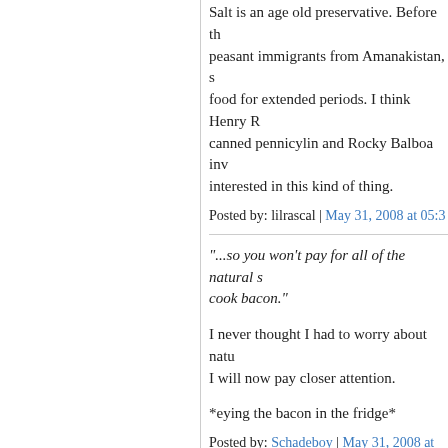Salt is an age old preservative. Before th... peasant immigrants from Amanakistan, s... food for extended periods. I think Henry R... canned pennicylin and Rocky Balboa inv... interested in this kind of thing.
Posted by: lilrascal | May 31, 2008 at 05:3...
"...so you won't pay for all of the natural s... cook bacon."
I never thought I had to worry about natu... I will now pay closer attention.
*eying the bacon in the fridge*
Posted by: Schadeboy | May 31, 2008 at...
Waitaminute...Pop Tarts have expiration d... of the same stuff as the shingles on the S...
Posted by: Suzy Q | May 31, 2008 at 06:0...
That's what's so puzzling, Suzy Q. pssst- SATC post on my blog - no plot sp...